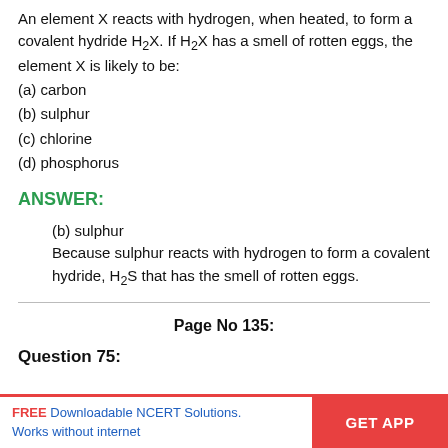An element X reacts with hydrogen, when heated, to form a covalent hydride H₂X. If H₂X has a smell of rotten eggs, the element X is likely to be:
(a) carbon
(b) sulphur
(c) chlorine
(d) phosphorus
ANSWER:
(b) sulphur
Because sulphur reacts with hydrogen to form a covalent hydride, H₂S that has the smell of rotten eggs.
Page No 135:
Question 75:
FREE Downloadable NCERT Solutions. Works without internet | GET APP